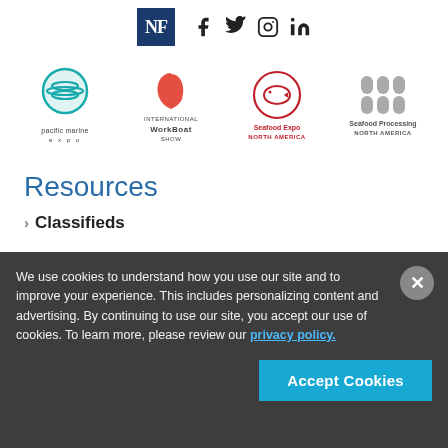[Figure (logo): NF logo in dark blue square with social media icons (Facebook, Twitter, Instagram, LinkedIn) to the right]
[Figure (logo): Four logos in a row: Pacific Marine Expo (teal circular wave design), International WorkBoat Show (red shape), Seafood Expo North America (red fish in circle), Seafood Processing North America (gray icons)]
Resources
> Classifieds
We use cookies to understand how you use our site and to improve your experience. This includes personalizing content and advertising. By continuing to use our site, you accept our use of cookies. To learn more, please review our privacy policy.
Accept Cookies